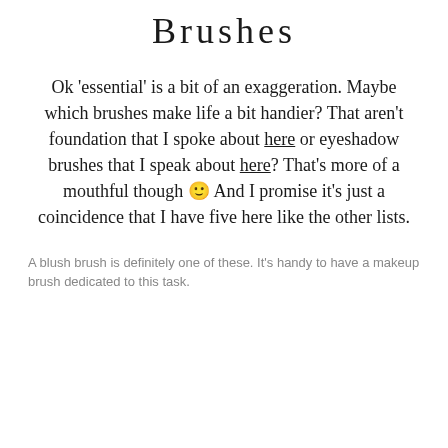Brushes
Ok ‘essential’ is a bit of an exaggeration. Maybe which brushes make life a bit handier? That aren’t foundation that I spoke about here or eyeshadow brushes that I speak about here? That’s more of a mouthful though 🙂 And I promise it’s just a coincidence that I have five here like the other lists.
A blush brush is definitely one of these. It’s handy to have a makeup brush dedicated to this task.